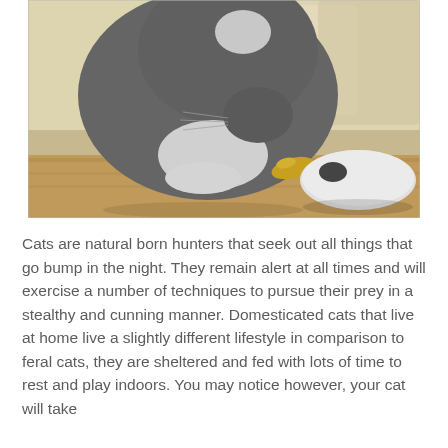[Figure (photo): A gray and white cat leaning down to sniff or play with a toy feather next to a white oval robotic cat toy device on a wooden floor, with light fabric/cushion in background.]
Cats are natural born hunters that seek out all things that go bump in the night. They remain alert at all times and will exercise a number of techniques to pursue their prey in a stealthy and cunning manner. Domesticated cats that live at home live a slightly different lifestyle in comparison to feral cats, they are sheltered and fed with lots of time to rest and play indoors. You may notice however, your cat will take